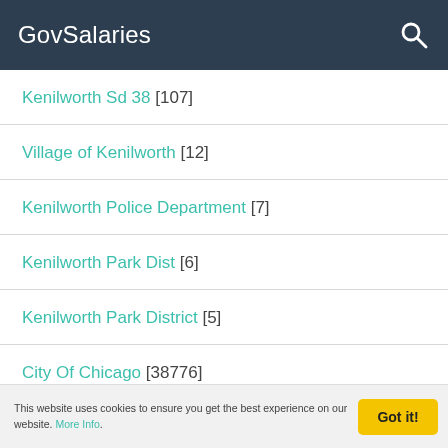GovSalaries
Kenilworth Sd 38 [107]
Village of Kenilworth [12]
Kenilworth Police Department [7]
Kenilworth Park Dist [6]
Kenilworth Park District [5]
City Of Chicago [38776]
City of Chicago Department of Finance [35263]
This website uses cookies to ensure you get the best experience on our website. More Info.